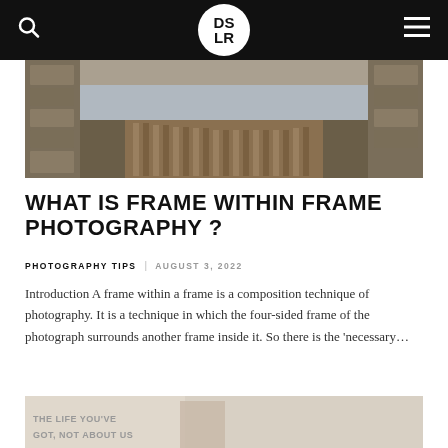DSLR
[Figure (photo): Stone wall and wooden boardwalk framing composition, hero image for article about frame within frame photography]
WHAT IS FRAME WITHIN FRAME PHOTOGRAPHY ?
PHOTOGRAPHY TIPS   AUGUST 3, 2022
Introduction A frame within a frame is a composition technique of photography. It is a technique in which the four-sided frame of the photograph surrounds another frame inside it. So there is the 'necessary…
[Figure (photo): Partial bottom image, appears to be a book or magazine with text reading 'THE LIFE YOU'VE GOT, NOT ABOUT US']